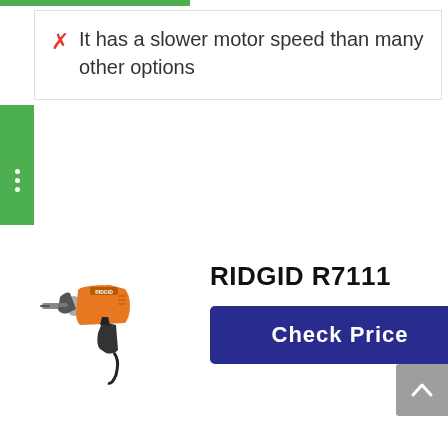✗ It has a slower motor speed than many other options
[Figure (photo): RIDGID R7111 corded hammer drill with orange and black body, facing left]
RIDGID R7111
Check Price